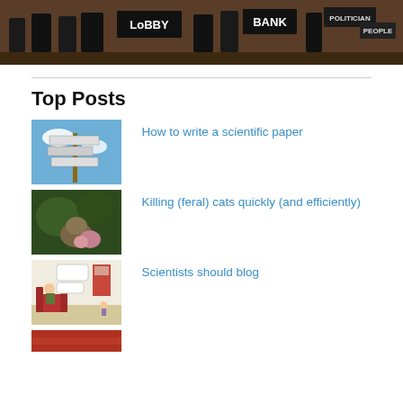[Figure (illustration): Political cartoon banner showing figures labeled LOBBY, BANK, POLITICIAN, and PEOPLE in a dark scene]
Top Posts
[Figure (photo): Thumbnail image of a signpost with multiple directional signs against a blue sky]
How to write a scientific paper
[Figure (photo): Thumbnail image of a feral cat in natural surroundings]
Killing (feral) cats quickly (and efficiently)
[Figure (illustration): Thumbnail image of a cartoon showing two people in a living room]
Scientists should blog
[Figure (photo): Thumbnail image partially visible at the bottom of page, red tones]